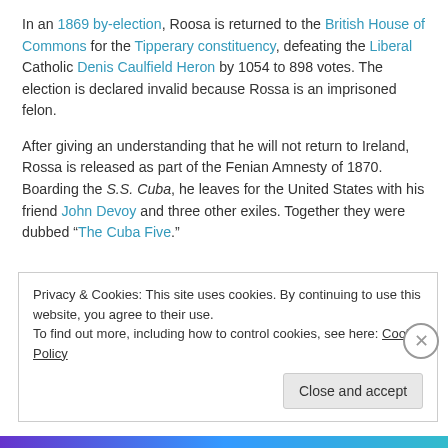In an 1869 by-election, Roosa is returned to the British House of Commons for the Tipperary constituency, defeating the Liberal Catholic Denis Caulfield Heron by 1054 to 898 votes. The election is declared invalid because Rossa is an imprisoned felon.
After giving an understanding that he will not return to Ireland, Rossa is released as part of the Fenian Amnesty of 1870. Boarding the S.S. Cuba, he leaves for the United States with his friend John Devoy and three other exiles. Together they were dubbed “The Cuba Five.”
Privacy & Cookies: This site uses cookies. By continuing to use this website, you agree to their use.
To find out more, including how to control cookies, see here: Cookie Policy